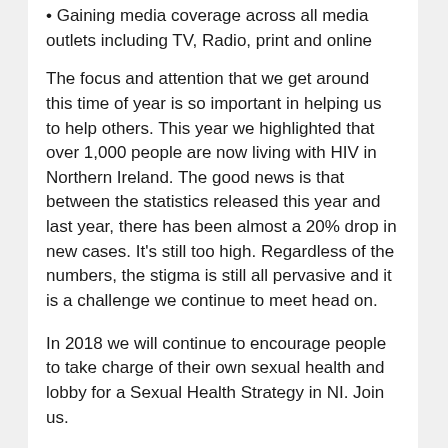• Gaining media coverage across all media outlets including TV, Radio, print and online
The focus and attention that we get around this time of year is so important in helping us to help others. This year we highlighted that over 1,000 people are now living with HIV in Northern Ireland. The good news is that between the statistics released this year and last year, there has been almost a 20% drop in new cases. It's still too high. Regardless of the numbers, the stigma is still all pervasive and it is a challenge we continue to meet head on.
In 2018 we will continue to encourage people to take charge of their own sexual health and lobby for a Sexual Health Strategy in NI. Join us.
Have a Happy Christmas and a wonderful New Year from all the staff and services users at Positive Life.